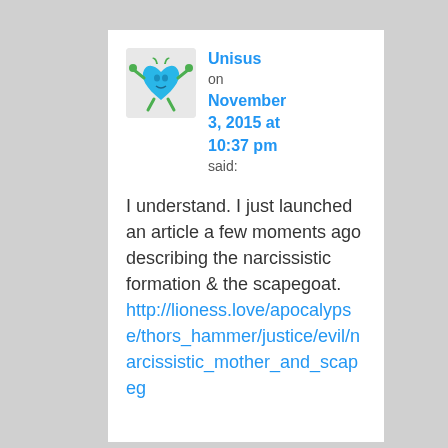[Figure (illustration): Avatar image of a cartoon blue heart-shaped character with green plant-like arms and legs on a light gray background]
Unisus on November 3, 2015 at 10:37 pm said:
I understand. I just launched an article a few moments ago describing the narcissistic formation & the scapegoat. http://lioness.love/apocalypse/thors_hammer/justice/evil/narcissistic_mother_and_scapeg